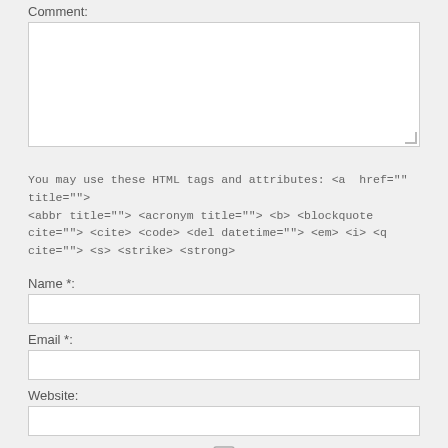Comment:
[Figure (other): Textarea input box for comment, empty, with resize handle at bottom right]
You may use these HTML tags and attributes: <a href="" title=""> <abbr title=""> <acronym title=""> <b> <blockquote cite=""> <cite> <code> <del datetime=""> <em> <i> <q cite=""> <s> <strike> <strong>
Name *:
[Figure (other): Text input box for Name, empty]
Email *:
[Figure (other): Text input box for Email, empty]
Website:
[Figure (other): Text input box for Website, empty]
[Figure (other): Checkbox, unchecked]
Save my name, email, and website in this browser for the next time I comment.: